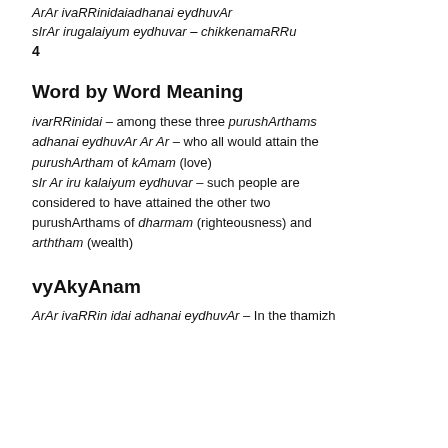ArAr ivaRRinidaiadhanai eydhuvAr
sIrAr irugalaiyum eydhuvar – chikkenamaRRu
4
Word by Word Meaning
ivarRRinidai – among these three purushArthams adhanai eydhuvAr Ar Ar – who all would attain the purushArtham of kAmam (love) sIr Ar iru kalaiyum eydhuvar – such people are considered to have attained the other two purushArthams of dharmam (righteousness) and arththam (wealth)
vyAkyAnam
ArAr ivaRRin idai adhanai eydhuvAr – In the thamizh